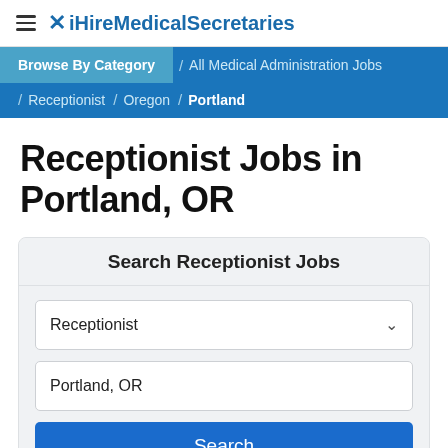iHireMedicalSecretaries
Browse By Category / All Medical Administration Jobs / Receptionist / Oregon / Portland
Receptionist Jobs in Portland, OR
Search Receptionist Jobs
Receptionist
Portland, OR
Search